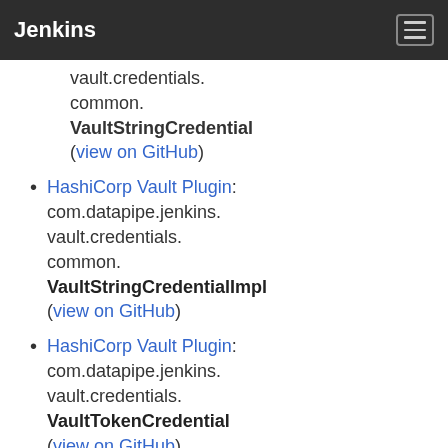Jenkins
vault.credentials.
common.
VaultStringCredential
(view on GitHub)
HashiCorp Vault Plugin: com.datapipe.jenkins.vault.credentials.common.VaultStringCredentialImpl (view on GitHub)
HashiCorp Vault Plugin: com.datapipe.jenkins.vault.credentials.VaultTokenCredential (view on GitHub)
HashiCorp Vault Plugin: com.datapipe.jenkins.